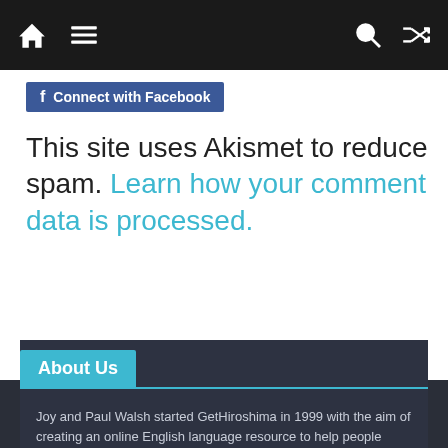Navigation bar with home, menu, search, and shuffle icons
[Figure (logo): Facebook Connect button with blue background]
This site uses Akismet to reduce spam. Learn how your comment data is processed.
About Us
Joy and Paul Walsh started GetHiroshima in 1999 with the aim of creating an online English language resource to help people enjoy their time in this amazing city to the full. The mission remains the same and, whether you are here for a day or a decade, we hope that GetHiroshima helps you dig that little bit deeper, and get you a little bit closer to the heart of Hiroshima.